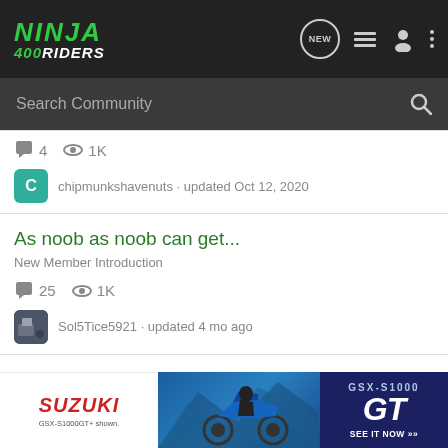Ninja 400 Riders
Search Community
4  1K  chipmunkshavenuts · updated Oct 12, 2020
As noob as noob can get...
New Member Introduction
25  1K  Sol5Tice5921 · updated 4 mo ago
New member, Ninja 400 track bike
New Member Introduction
8
[Figure (advertisement): Suzuki GSX-S1000 GT advertisement banner with motorcycle image]